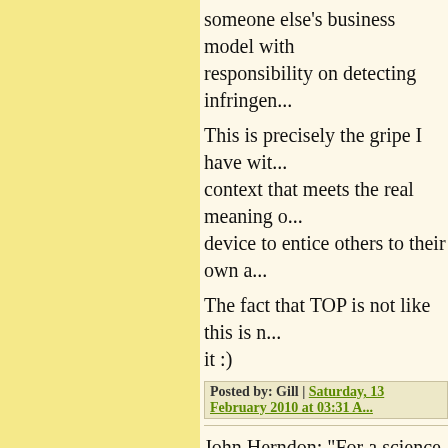someone else's business model with responsibility on detecting infringen...
This is precisely the gripe I have wit... context that meets the real meaning o... device to entice others to their own a...
The fact that TOP is not like this is n... it :)
Posted by: Gill | Saturday, 13 February 2010 at 03:31 A...
John Herndon: "For a science fiction... cause for pause."
I'd say the job of a science fiction w... technology, but to have interesting, c... about it.
And as far as I can tell, Harlan Elliso...
Posted by: richardplondon | Saturday, 13 February 20...